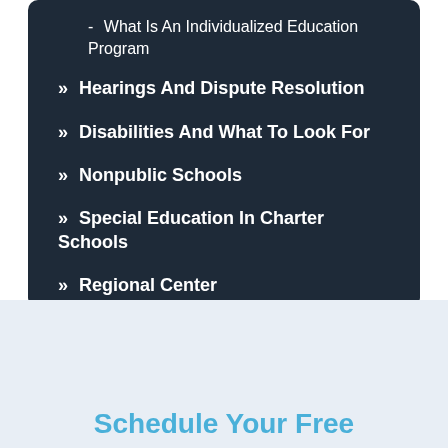- What Is An Individualized Education Program
» Hearings And Dispute Resolution
» Disabilities And What To Look For
» Nonpublic Schools
» Special Education In Charter Schools
» Regional Center
Schedule Your Free